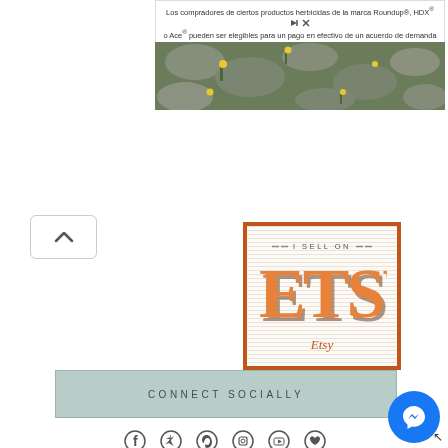Los compradores de ciertos productos herbicidas de la marca Roundup®, HDX® o Ace® pueden ser elegibles para un pago en efectivo de un acuerdo de demanda colectiva. Visite www.WeedKillerAdSettlement.com para obtener más información.
[Figure (photo): Stone path with weeds and yellow flowers, advertisement background image]
[Figure (logo): I SELL ON ETSY badge with large orange ETSY text on lined background with orange border, and orange italic Etsy link text below]
CONNECT SOCIALLY
[Figure (infographic): Social media icons row: Facebook, Twitter, Pinterest, Instagram, YouTube, Heart/Bloglovin]
[Figure (infographic): Blue Facebook Messenger chat bubble button in bottom right corner]